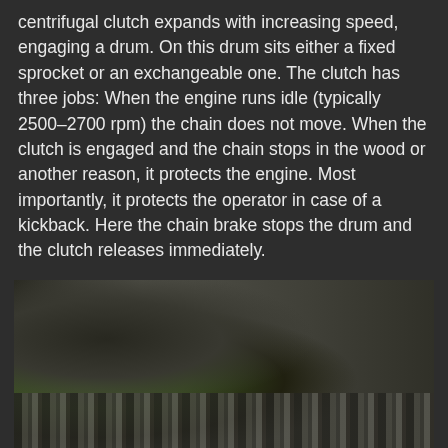centrifugal clutch expands with increasing speed, engaging a drum. On this drum sits either a fixed sprocket or an exchangeable one. The clutch has three jobs: When the engine runs idle (typically 2500–2700 rpm) the chain does not move. When the clutch is engaged and the chain stops in the wood or another reason, it protects the engine. Most importantly, it protects the operator in case of a kickback. Here the chain brake stops the drum and the clutch releases immediately.
[Figure (photo): Close-up photograph of a chainsaw chain and clutch/drum area against a blurred workshop background, showing the chain links and green chainsaw body]